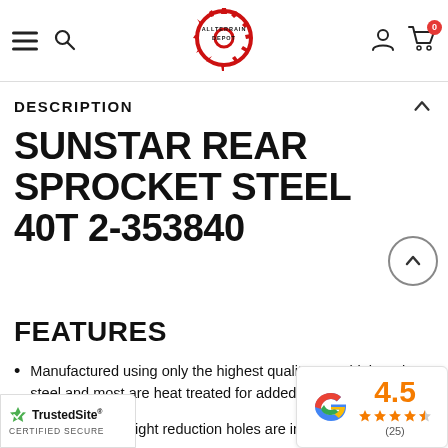ALLTERRAIN DEPOT
DESCRIPTION
SUNSTAR REAR SPROCKET STEEL 40T 2-353840
FEATURES
Manufactured using only the highest quality 1045 high-carbon steel and most are heat treated for added strength and wear resis…
…r designed weight reduction holes are include…